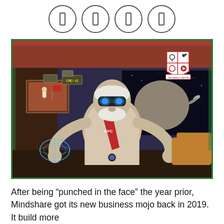[Figure (illustration): Four circular icon buttons in a row at the top of the page, each containing a vertical rectangle/bar icon (resembling pause button or bookmark icons), rendered with thin circular borders.]
[Figure (photo): A sci-fi themed illustration of Colonel Sanders (KFC mascot) as a futuristic robot/cyborg in a space station interior. The character wears a KFC-branded lab coat with a red sash, blue glowing goggles, and gives two thumbs up. A 2019 Agency Report Card badge appears in the upper right corner. Background shows Mars landscapes, space imagery, and sci-fi room elements with green border framing.]
After being “punched in the face” the year prior, Mindshare got its new business mojo back in 2019. It build more